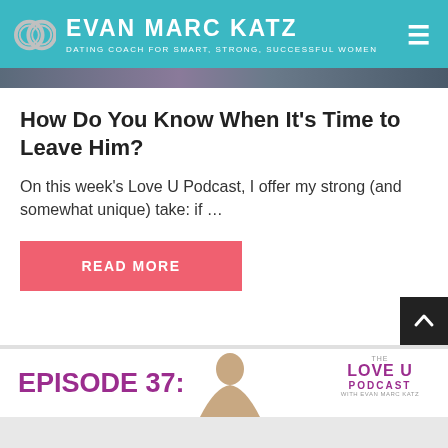EVAN MARC KATZ — DATING COACH FOR SMART, STRONG, SUCCESSFUL WOMEN
[Figure (photo): Partial image strip visible at the top of the article card area]
How Do You Know When It's Time to Leave Him?
On this week's Love U Podcast, I offer my strong (and somewhat unique) take: if ...
READ MORE
[Figure (screenshot): Episode 37 card with Love U Podcast logo and person image at bottom]